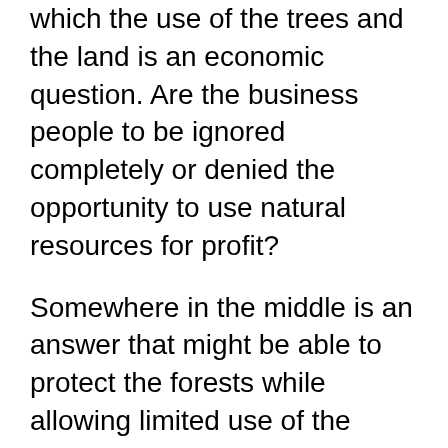which the use of the trees and the land is an economic question. Are the business people to be ignored completely or denied the opportunity to use natural resources for profit?
Somewhere in the middle is an answer that might be able to protect the forests while allowing limited use of the trees and land. Focusing on maintaining the diversity of the planet's forests should be at the top of the list with this plan. After all, clear-cutting forests doesn't help even the business people in the long run.
To keep these diverse, life-sustaining areas alive we must study and understand the complete forest system rather than seeing it